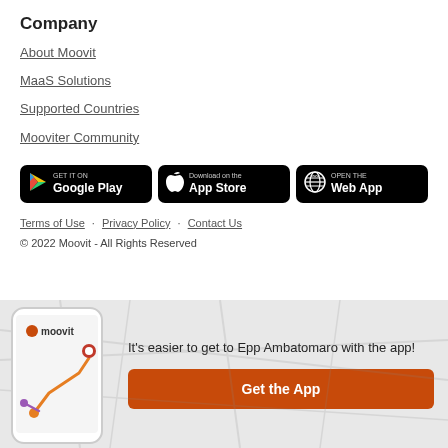Company
About Moovit
MaaS Solutions
Supported Countries
Mooviter Community
[Figure (other): Three app store buttons: GET IT ON Google Play, Download on the App Store, OPEN THE Web App]
Terms of Use · Privacy Policy · Contact Us
© 2022 Moovit - All Rights Reserved
[Figure (illustration): Bottom banner with Moovit phone app mockup showing a route map, and text: It's easier to get to Epp Ambatomaro with the app! with an orange Get the App button]